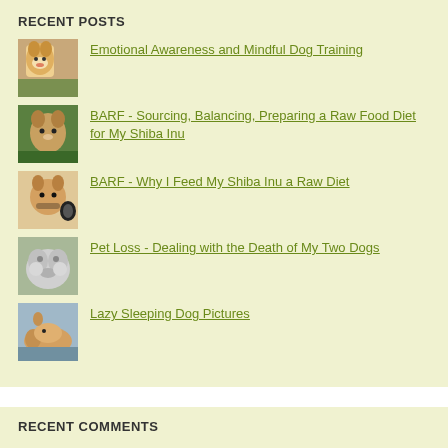RECENT POSTS
Emotional Awareness and Mindful Dog Training
BARF - Sourcing, Balancing, Preparing a Raw Food Diet for My Shiba Inu
BARF - Why I Feed My Shiba Inu a Raw Diet
Pet Loss - Dealing with the Death of My Two Dogs
Lazy Sleeping Dog Pictures
RECENT COMMENTS